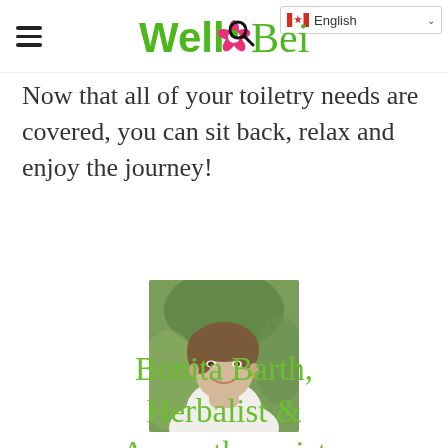Well Being
Now that all of your toiletry needs are covered, you can sit back, relax and enjoy the journey!
[Figure (photo): Portrait photo of a smiling woman with short brown hair wearing a white top, outdoors with green background]
Bonita Barth, Herbalist & Aromatherapist